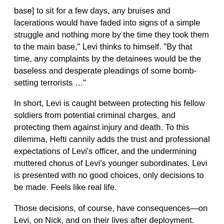base] to sit for a few days, any bruises and lacerations would have faded into signs of a simple struggle and nothing more by the time they took them to the main base," Levi thinks to himself. "By that time, any complaints by the detainees would be the baseless and desperate pleadings of some bomb-setting terrorists …"
In short, Levi is caught between protecting his fellow soldiers from potential criminal charges, and protecting them against injury and death. To this dilemma, Hefti cannily adds the trust and professional expectations of Levi's officer, and the undermining muttered chorus of Levi's younger subordinates. Levi is presented with no good choices, only decisions to be made. Feels like real life.
Those decisions, of course, have consequences—on Levi, on Nick, and on their lives after deployment. Hefti does a masterful job disarming reader expectations and the usual tropes, and guides readers on an unpredictable journey toward an ultimately satisfying conclusion.
The philosophical fulcrum for the work is this: As he is